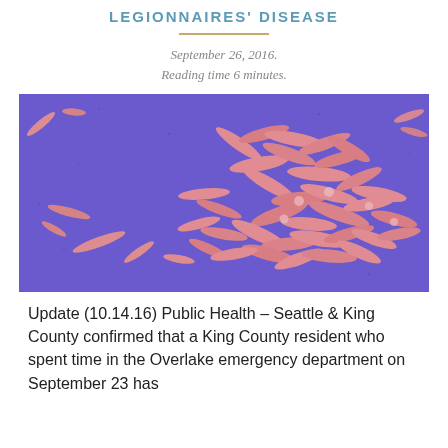LEGIONNAIRES' DISEASE
September 26, 2016.
Reading time 6 minutes.
[Figure (photo): Scanning electron microscope image of Legionella pneumophila bacteria — pink/salmon rod-shaped bacteria clustered on a purple background]
Update (10.14.16) Public Health – Seattle & King County confirmed that a King County resident who spent time in the Overlake emergency department on September 23 has